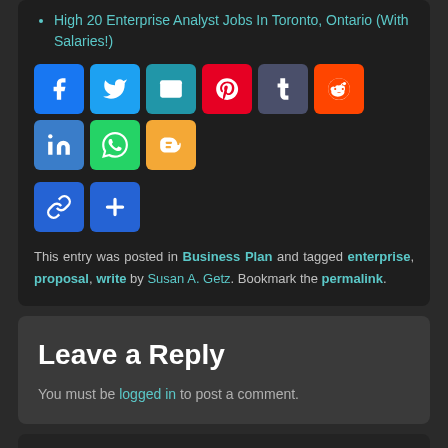High 20 Enterprise Analyst Jobs In Toronto, Ontario (With Salaries!)
[Figure (other): Social share buttons: Facebook, Twitter, Email, Pinterest, Tumblr, Reddit, LinkedIn, WhatsApp, Blogger, Copy Link, More]
This entry was posted in Business Plan and tagged enterprise, proposal, write by Susan A. Getz. Bookmark the permalink.
Leave a Reply
You must be logged in to post a comment.
← Previous
How Entrepreneurs Identify New Enterprise Opportunities